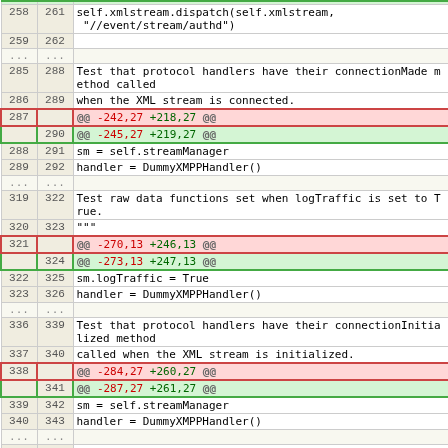| Old | New | Code |
| --- | --- | --- |
| 258 | 261 |         self.xmlstream.dispatch(self.xmlstream, "//event/stream/authd") |
| 259 | 262 |  |
| ... | ... |  |
| 285 | 288 |         Test that protocol handlers have their connectionMade method called |
| 286 | 289 |             when the XML stream is connected. |
| 287 |  | @@ -242,27 +218,27 @@ |
|  | 290 | @@ -245,27 +219,27 @@ |
| 288 | 291 |             sm = self.streamManager |
| 289 | 292 |             handler = DummyXMPPHandler() |
| ... | ... |  |
| 319 | 322 |         Test raw data functions set when logTraffic is set to True. |
| 320 | 323 |             """ |
| 321 |  | @@ -270,13 +246,13 @@ |
|  | 324 | @@ -273,13 +247,13 @@ |
| 322 | 325 |             sm.logTraffic = True |
| 323 | 326 |             handler = DummyXMPPHandler() |
| ... | ... |  |
| 336 | 339 |         Test that protocol handlers have their connectionInitialized method |
| 337 | 340 |             called when the XML stream is initialized. |
| 338 |  | @@ -284,27 +260,27 @@ |
|  | 341 | @@ -287,27 +261,27 @@ |
| 339 | 342 |             sm = self.streamManager |
| 340 | 343 |             handler = DummyXMPPHandler() |
| ... | ... |  |
| 369 | 372 |         A L{STREAM_END_EVENT} results in L{StreamManager} firing the handlers |
| 370 | 373 |             L{connectionLost} methods, passing a |